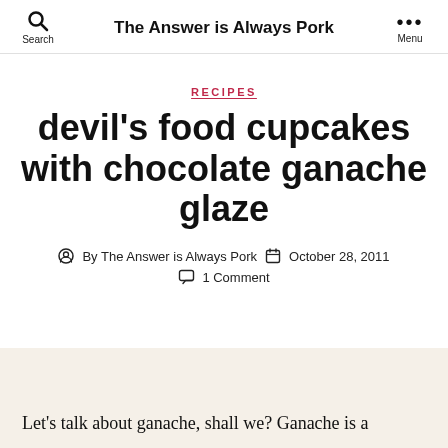The Answer is Always Pork
RECIPES
devil's food cupcakes with chocolate ganache glaze
By The Answer is Always Pork  October 28, 2011  1 Comment
Let's talk about ganache, shall we? Ganache is a